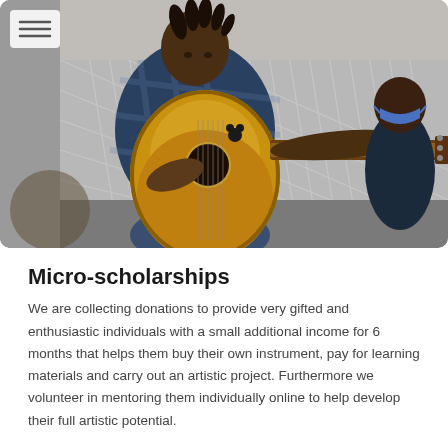[Figure (photo): A young man playing an acoustic guitar outdoors, seated, wearing a blue plaid shirt and jeans, with another person in the background wearing a blue mask. A building with a metal gate is visible behind them.]
Micro-scholarships
We are collecting donations to provide very gifted and enthusiastic individuals with a small additional income for 6 months that helps them buy their own instrument, pay for learning materials and carry out an artistic project. Furthermore we volunteer in mentoring them individually online to help develop their full artistic potential.